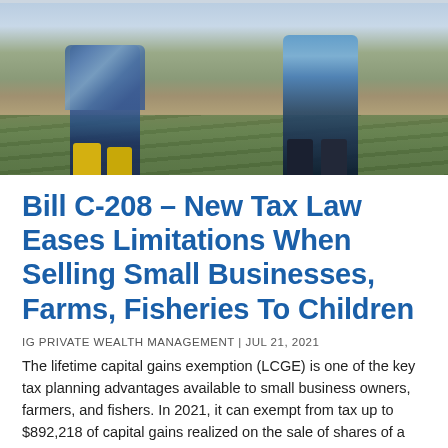[Figure (photo): Photo of farmers (two adults crouching) in a farm field with green crop rows in the soil]
Bill C-208 – New Tax Law Eases Limitations When Selling Small Businesses, Farms, Fisheries To Children
IG PRIVATE WEALTH MANAGEMENT | JUL 21, 2021
The lifetime capital gains exemption (LCGE) is one of the key tax planning advantages available to small business owners, farmers, and fishers. In 2021, it can exempt from tax up to $892,218 of capital gains realized on the sale of shares of a qualified small business corporation and up to $1 million of